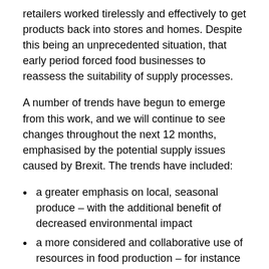retailers worked tirelessly and effectively to get products back into stores and homes. Despite this being an unprecedented situation, that early period forced food businesses to reassess the suitability of supply processes.
A number of trends have begun to emerge from this work, and we will continue to see changes throughout the next 12 months, emphasised by the potential supply issues caused by Brexit. The trends have included:
a greater emphasis on local, seasonal produce – with the additional benefit of decreased environmental impact
a more considered and collaborative use of resources in food production – for instance sharing plant facilities or warehousing space, or multi purposing production lines
increased scrutiny on safe production processes, including good health and well being of industry workers